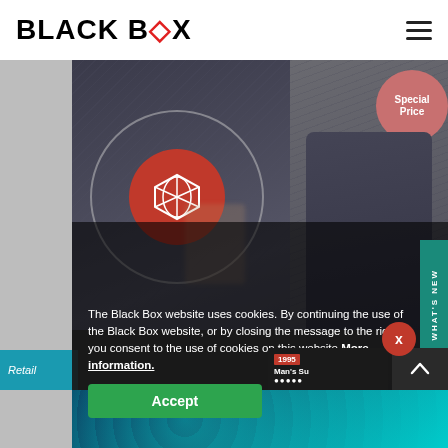BLACK BOX
[Figure (screenshot): Black Box website screenshot showing a man in a suit with a circular brand icon overlay, and a mannequin with a 'Special Price' badge on the right side]
The Black Box website uses cookies. By continuing the use of the Black Box website, or by closing the message to the right, you consent to the use of cookies on this website More information.
Accept
WHAT'S NEW
Retail